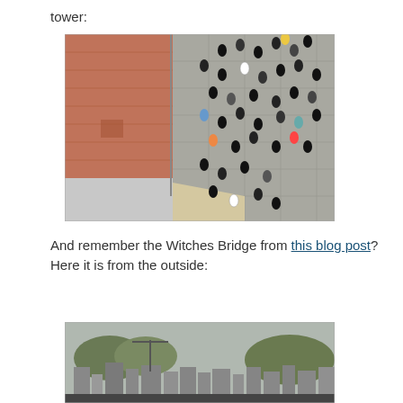tower:
[Figure (photo): Aerial/overhead view from a tower looking down at a town square or plaza with many people walking on stone pavement, and a terracotta-tiled rooftop visible on the left side.]
And remember the Witches Bridge from this blog post?  Here it is from the outside:
[Figure (photo): Panoramic view of a city skyline from an elevated vantage point, showing buildings, trees, and urban landscape in overcast/hazy weather.]